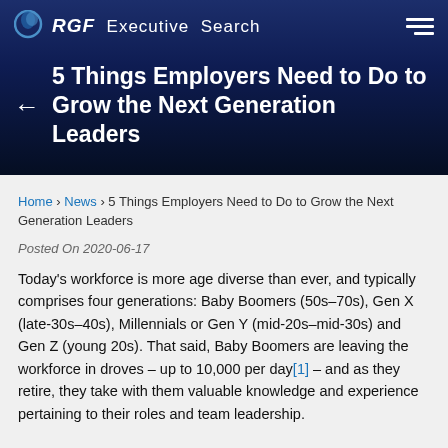RGF Executive Search
5 Things Employers Need to Do to Grow the Next Generation Leaders
Home › News › 5 Things Employers Need to Do to Grow the Next Generation Leaders
Posted On 2020-06-17
Today's workforce is more age diverse than ever, and typically comprises four generations: Baby Boomers (50s–70s), Gen X (late-30s–40s), Millennials or Gen Y (mid-20s–mid-30s) and Gen Z (young 20s). That said, Baby Boomers are leaving the workforce in droves – up to 10,000 per day[1] – and as they retire, they take with them valuable knowledge and experience pertaining to their roles and team leadership.